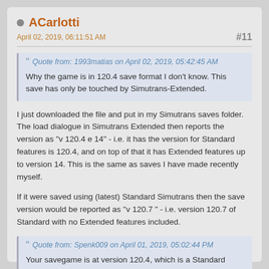ACarlotti
April 02, 2019, 06:11:51 AM
#11
Quote from: 1993matias on April 02, 2019, 05:42:45 AM
Why the game is in 120.4 save format I don't know. This save has only be touched by Simutrans-Extended.
I just downloaded the file and put in my Simutrans saves folder. The load dialogue in Simutrans Extended then reports the version as "v 120.4 e 14" - i.e.  it has the version for Standard features is 120.4, and on top of that it has Extended features up to version 14. This is the same as saves I have made recently myself.
If it were saved using (latest) Standard Simutrans then the save version would be reported as "v 120.7  " - i.e. version 120.7 of Standard with no Extended features included.
Quote from: Spenk009 on April 01, 2019, 05:02:44 PM
Your savegame is at version 120.4, which is a Standard